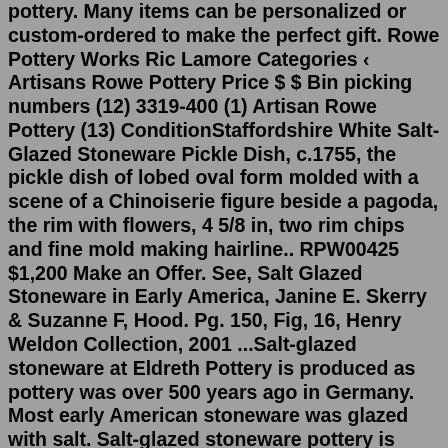pottery. Many items can be personalized or custom-ordered to make the perfect gift. Rowe Pottery Works Ric Lamore Categories ‹ Artisans Rowe Pottery Price $ $ Bin picking numbers (12) 3319-400 (1) Artisan Rowe Pottery (13) ConditionStaffordshire White Salt-Glazed Stoneware Pickle Dish, c.1755, the pickle dish of lobed oval form molded with a scene of a Chinoiserie figure beside a pagoda, the rim with flowers, 4 5/8 in, two rim chips and fine mold making hairline.. RPW00425 $1,200 Make an Offer. See, Salt Glazed Stoneware in Early America, Janine E. Skerry & Suzanne F, Hood. Pg. 150, Fig, 16, Henry Weldon Collection, 2001 ...Salt-glazed stoneware at Eldreth Pottery is produced as pottery was over 500 years ago in Germany. Most early American stoneware was glazed with salt. Salt-glazed stoneware pottery is glazed during the firing process. When the kiln reaches about 2,250°F, salt, composed of sodium, is thrown inside. Once in the kiln, the salt becomes a vapor. bose soundlink 2 replacement partsxa